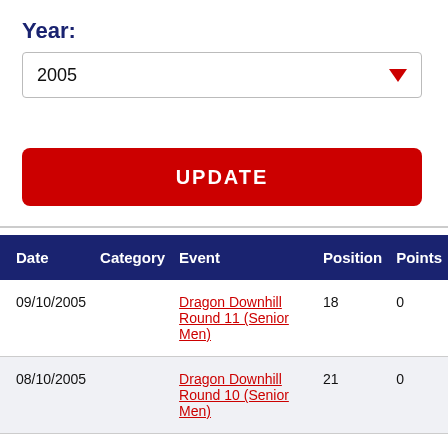Year:
2005
UPDATE
| Date | Category | Event | Position | Points |
| --- | --- | --- | --- | --- |
| 09/10/2005 |  | Dragon Downhill Round 11 (Senior Men) | 18 | 0 |
| 08/10/2005 |  | Dragon Downhill Round 10 (Senior Men) | 21 | 0 |